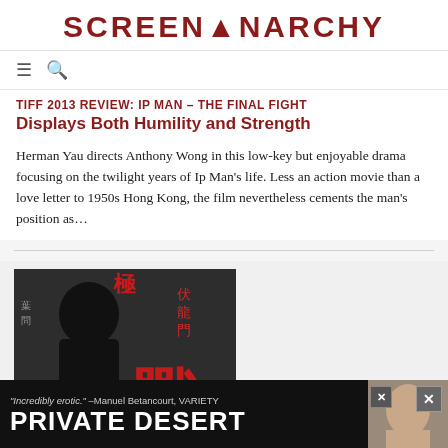SCREENANARCHY
TIFF 2013 REVIEW: IP MAN – THE FINAL FIGHT Displays Both Humility and Strength
Herman Yau directs Anthony Wong in this low-key but enjoyable drama focusing on the twilight years of Ip Man's life. Less an action movie than a love letter to 1950s Hong Kong, the film nevertheless cements the man's position as…
[Figure (photo): Movie poster for Ip Man: The Final Fight showing a bald man in dark clothing with large Chinese characters in red]
[Figure (photo): Advertisement banner for 'PRIVATE DESERT' with quote 'Incredibly erotic.' –Manuel Betancourt, VARIETY]
March 11, 2013 12:08 pm by James Marsh